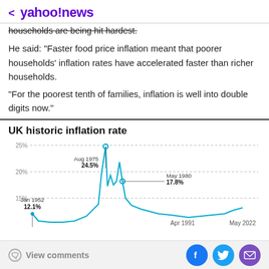< yahoo!news
households are being hit hardest.
He said: "Faster food price inflation meant that poorer households' inflation rates have accelerated faster than richer households.
"For the poorest tenth of families, inflation is well into double digits now."
UK historic inflation rate
[Figure (line-chart): Line chart showing UK historic inflation rate with labeled peaks at Jan 1952 (12.1%), Aug 1975 (24.5%), May 1980 (17.8%), and x-axis labels for Apr 1991 and May 2022. Y-axis gridlines at 15%, 20%, 25%.]
View comments